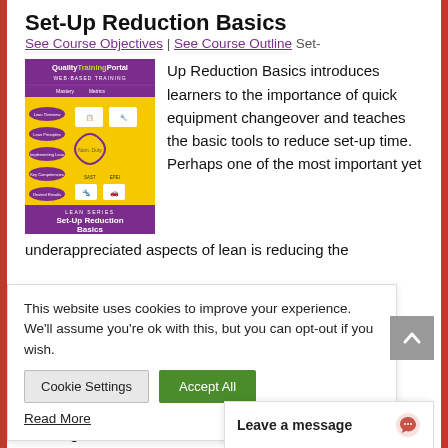Set-Up Reduction Basics
See Course Objectives | See Course Outline Set-Up Reduction Basics introduces learners to the importance of quick equipment changeover and teaches the basic tools to reduce set-up time. Perhaps one of the most important yet underappreciated aspects of lean is reducing the ... ses from ... rocess ... ged-over" to ... ve, and ... time
[Figure (illustration): Quality Training Portal web-based training course cover image for Lean Series: Set-Up Reduction Basics, showing a yellow and purple course thumbnail with flowchart elements]
This website uses cookies to improve your experience. We'll assume you're ok with this, but you can opt-out if you wish.
Cookie Settings | Accept All
Read More
Leave a message
reconfigured to ma...